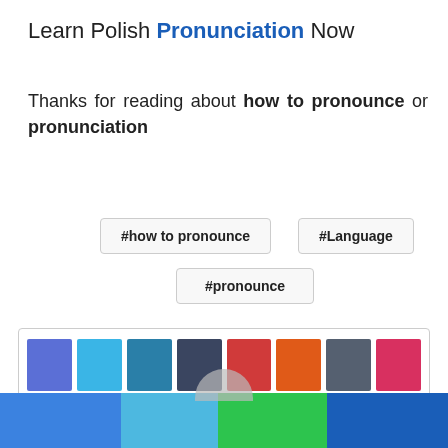Learn Polish Pronunciation Now
Thanks for reading about how to pronounce or pronunciation
#how to pronounce
#Language
#pronounce
[Figure (infographic): Color swatches grid showing 11 color squares: blue, sky blue, dark cyan, dark navy, red, orange-red, steel blue, pink-red (row 1); green, dark gray, medium gray (row 2)]
[Figure (infographic): Footer bar with four color segments: blue, light blue, green, dark blue; with partial gray avatar bump above center]